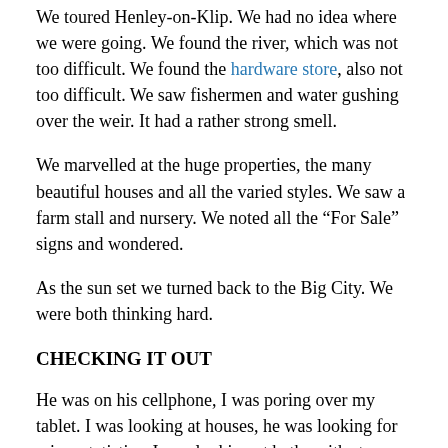We toured Henley-on-Klip. We had no idea where we were going. We found the river, which was not too difficult. We found the hardware store, also not too difficult. We saw fishermen and water gushing over the weir. It had a rather strong smell.
We marvelled at the huge properties, the many beautiful houses and all the varied styles. We saw a farm stall and nursery. We noted all the “For Sale” signs and wondered.
As the sun set we turned back to the Big City. We were both thinking hard.
CHECKING IT OUT
He was on his cellphone, I was poring over my tablet. I was looking at houses, he was looking for crime statistics. I was looking at baths with steps, lavish bars and houses with five garages. He was grunting about the flood figures. I was staring at properties that seemed to stretch to the horizon. He was reading news reports about land claims. “Not a good idea,” he said firmly.
By now I had the bug. I drew up a list of questions, contacted